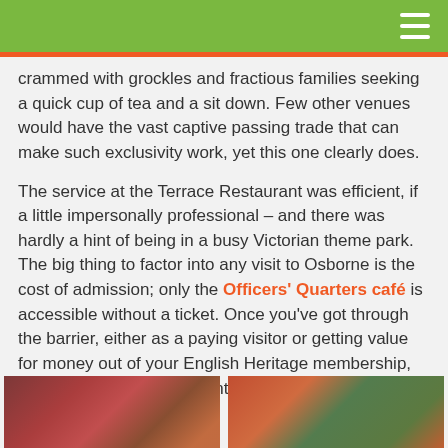crammed with grockles and fractious families seeking a quick cup of tea and a sit down. Few other venues would have the vast captive passing trade that can make such exclusivity work, yet this one clearly does.
The service at the Terrace Restaurant was efficient, if a little impersonally professional – and there was hardly a hint of being in a busy Victorian theme park. The big thing to factor into any visit to Osborne is the cost of admission; only the Officers' Quarters café is accessible without a ticket. Once you've got through the barrier, either as a paying visitor or getting value for money out of your English Heritage membership, then the Terrace Restaurant is surprisingly good value. Matt and Cat are amused.
Related
[Figure (photo): Thumbnail photo on the left]
[Figure (photo): Thumbnail photo on the right]